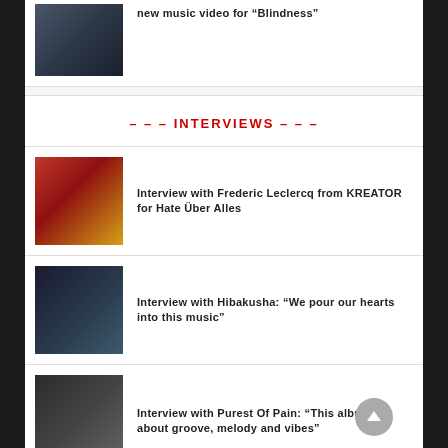[Figure (photo): Album or band image related to Blindness music video article]
new music video for “Blindness”
– – – INTERVIEWS – – –
[Figure (photo): Kreator album art - Hate Uber Alles, showing armored figure in red cloak]
Interview with Frederic Leclercq from KREATOR for Hate Über Alles
[Figure (photo): Hibakusha band photo - group of musicians in dark setting]
Interview with Hibakusha: “We pour our hearts into this music”
[Figure (photo): Purest Of Pain band photo - group photo in industrial setting]
Interview with Purest Of Pain: “This album is about groove, melody and vibes”